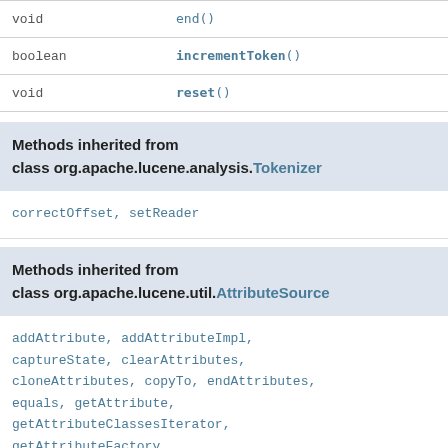| Type | Method |
| --- | --- |
| void | end() |
| boolean | incrementToken() |
| void | reset() |
Methods inherited from class org.apache.lucene.analysis.Tokenizer
correctOffset, setReader
Methods inherited from class org.apache.lucene.util.AttributeSource
addAttribute, addAttributeImpl, captureState, clearAttributes, cloneAttributes, copyTo, endAttributes, equals, getAttribute, getAttributeClassesIterator, getAttributeFactory, getAttributeImplsIterator, hasAttribute, hasAttributes, hashCode, reflectAsString, reflectWith, removeAllAttributes, restoreState, toString